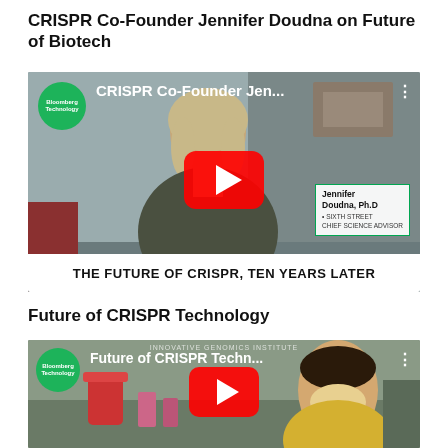CRISPR Co-Founder Jennifer Doudna on Future of Biotech
[Figure (screenshot): Bloomberg Technology YouTube video thumbnail showing Jennifer Doudna, Ph.D., with title 'CRISPR Co-Founder Jen...' and caption 'THE FUTURE OF CRISPR, TEN YEARS LATER'. Name card reads: Jennifer Doudna, Ph.D, SIXTH STREET CHIEF SCIENCE ADVISOR.]
Future of CRISPR Technology
[Figure (screenshot): Bloomberg Technology YouTube video thumbnail showing a lab worker, with title 'Future of CRISPR Techn...' and institute text 'INNOVATIVE GENOMICS INSTITUTE'.]